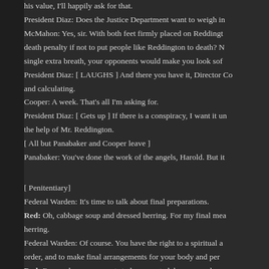his value, I'll happily ask for that.
President Diaz: Does the Justice Department want to weigh in
McMahon: Yes, sir. With both feet firmly placed on Reddingt... death penalty if not to put people like Reddington to death? N... single extra breath, your opponents would make you look so...
President Diaz: [ LAUGHS ] And there you have it, Director Co... and calculating.
Cooper: A week. That's all I'm asking for.
President Diaz: [ Gets up ] If there is a conspiracy, I want it un... the help of Mr. Reddington.
[ All but Panabaker and Cooper leave ]
Panabaker: You've done the work of the angels, Harold. But it
[ Penitentiary]
Federal Warden: It's time to talk about final preparations.
Red: Oh, cabbage soup and dressed herring. For my final mea... herring.
Federal Warden: Of course. You have the right to a spiritual a... order, and to make final arrangements for your body and per
Red: I've made arrangements to be cremated, have my ashes
[ Slvo's n "Not Broken" plays ]